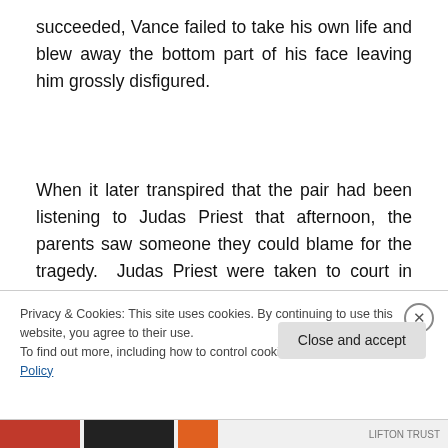succeeded, Vance failed to take his own life and blew away the bottom part of his face leaving him grossly disfigured.
When it later transpired that the pair had been listening to Judas Priest that afternoon, the parents saw someone they could blame for the tragedy. Judas Priest were taken to court in 1990 and the parents claimed that there were
Privacy & Cookies: This site uses cookies. By continuing to use this website, you agree to their use.
To find out more, including how to control cookies, see here: Cookie Policy